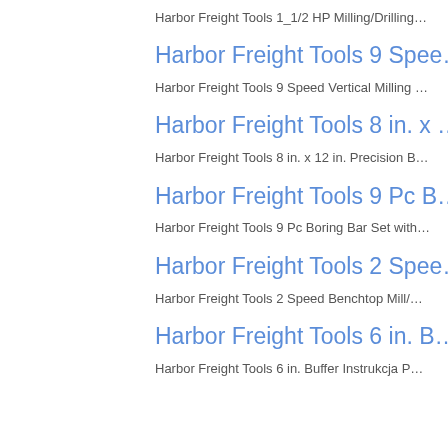Harbor Freight Tools 1_1/2 HP Milling/Drilling…
Harbor Freight Tools 9 Spee…
Harbor Freight Tools 9 Speed Vertical Milling …
Harbor Freight Tools 8 in. x …
Harbor Freight Tools 8 in. x 12 in. Precision B…
Harbor Freight Tools 9 Pc B…
Harbor Freight Tools 9 Pc Boring Bar Set with…
Harbor Freight Tools 2 Spee…
Harbor Freight Tools 2 Speed Benchtop Mill/…
Harbor Freight Tools 6 in. B…
Harbor Freight Tools 6 in. Buffer Instrukcja P…